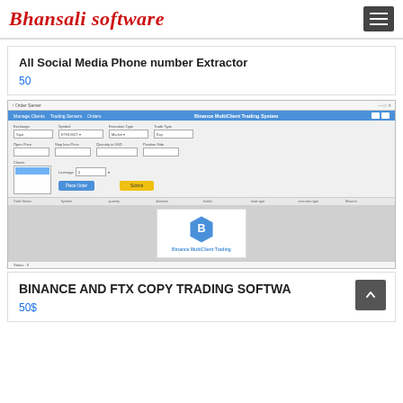Bhansali software
All Social Media Phone number Extractor
50
[Figure (screenshot): Screenshot of Binance MultiClient Trading System application with order form fields and Binance MultiClient Trading logo]
BINANCE AND FTX COPY TRADING SOFTWA...
50$